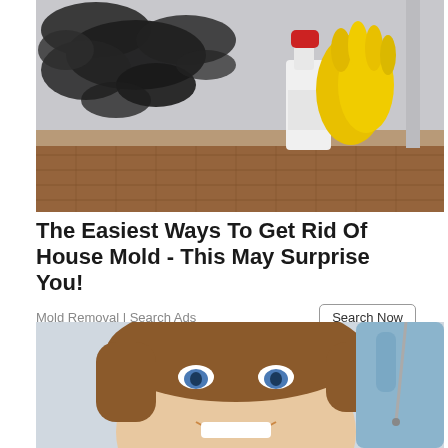[Figure (photo): Photo of a corner of a room with black mold growing on the wall and baseboard. A white spray bottle with a red cap and yellow rubber cleaning gloves are placed in front of the moldy wall on a wooden floor.]
The Easiest Ways To Get Rid Of House Mold - This May Surprise You!
Mold Removal | Search Ads
[Figure (photo): Close-up photo of a smiling young woman with blue eyes and brown hair at a dental examination. A blue-gloved hand holds a dental instrument near her mouth.]